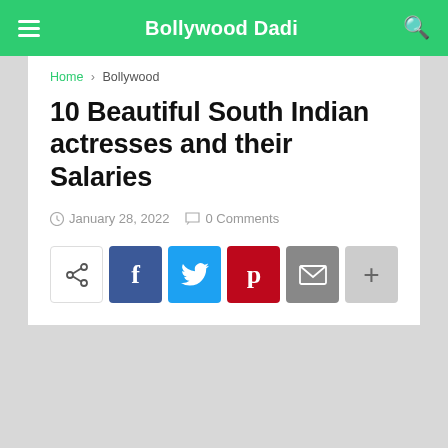Bollywood Dadi
Home › Bollywood
10 Beautiful South Indian actresses and their Salaries
January 28, 2022   0 Comments
[Figure (other): Social share buttons row: native share, Facebook, Twitter, Pinterest, Email, More]